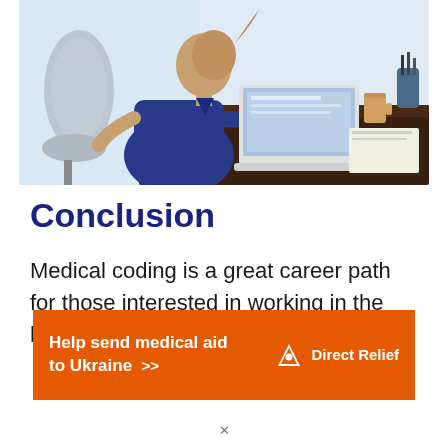[Figure (photo): A nurse or medical professional in blue scrubs sitting at a desk, working on a laptop computer in a clinical office setting.]
Conclusion
Medical coding is a great career path for those interested in working in the health care industry...
[Figure (infographic): Orange advertisement banner: 'Help send medical aid to Ukraine >>' with Direct Relief logo on the right.]